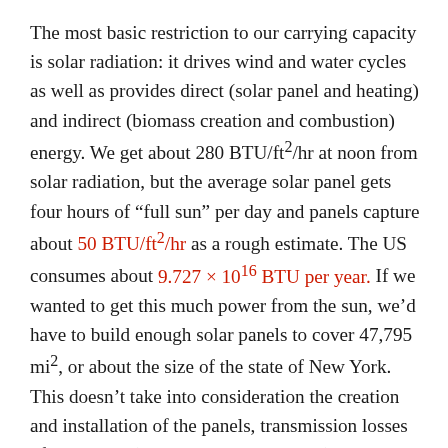The most basic restriction to our carrying capacity is solar radiation: it drives wind and water cycles as well as provides direct (solar panel and heating) and indirect (biomass creation and combustion) energy. We get about 280 BTU/ft²/hr at noon from solar radiation, but the average solar panel gets four hours of "full sun" per day and panels capture about 50 BTU/ft²/hr as a rough estimate. The US consumes about 9.727 × 10¹⁶ BTU per year. If we wanted to get this much power from the sun, we'd have to build enough solar panels to cover 47,795 mi², or about the size of the state of New York. This doesn't take into consideration the creation and installation of the panels, transmission losses of electricity (maybe 1 percent/100 mi), etc. We won't go into the total energy-generating capacity of non-